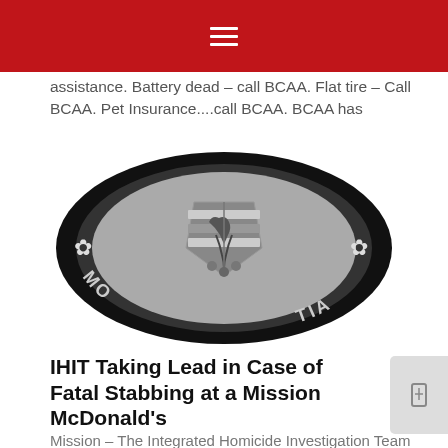Navigation menu header with hamburger icon
assistance. Battery dead – call BCAA. Flat tire – Call BCAA. Pet Insurance....call BCAA. BCAA has
[Figure (logo): IHIT (Integrated Homicide Investigation Team) circular badge/medallion in grayscale, featuring a coat of arms with a lion rampant, maple leaf emblems on either side, and partial text 'MO' and 'TIA' visible on the black outer ring]
IHIT Taking Lead in Case of Fatal Stabbing at a Mission McDonald's
Mission – The Integrated Homicide Investigation Team